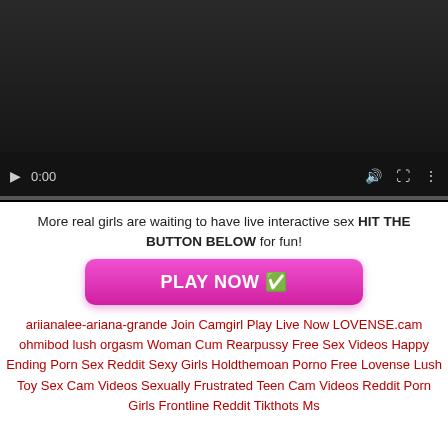[Figure (screenshot): Video player with dark background, showing controls: play button, time 0:00, volume, fullscreen, and more options icons, with a progress bar at the bottom.]
More real girls are waiting to have live interactive sex HIT THE BUTTON BELOW for fun!
[Figure (other): Pink/magenta rounded button labeled PLAY NOW with a green checkmark emoji]
ariianalee-ariana-grande Join Camgirl Play Live Now LOVENSE.cam ohmibod lush orgasm Woman Cum Rearpussy Free Sex Videos Happy Ending Porn Sex Reddit Sexy Girls Holdthemoan Porno Free Lovense Lush Toy Sex Cam Videos Sexually Frustrated Teen Cam Videos Reddit Porn Girls Frontline Reddit Tikthots Ms